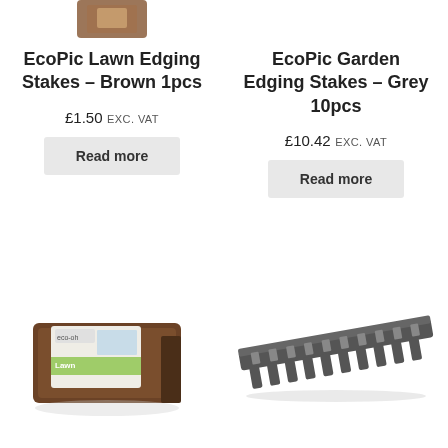[Figure (photo): Partial top view of a brown EcoPic Lawn Edging Stakes product (cropped at top)]
EcoPic Lawn Edging Stakes – Brown 1pcs
£1.50 exc. VAT
Read more
EcoPic Garden Edging Stakes – Grey 10pcs
£10.42 exc. VAT
Read more
[Figure (photo): EcoPic Lawn Edging Stakes Brown product in packaging box with eco-oh branding label]
[Figure (photo): EcoPic Garden Edging Stakes Grey 10pcs product showing a strip of grey plastic garden edging stakes connected together]